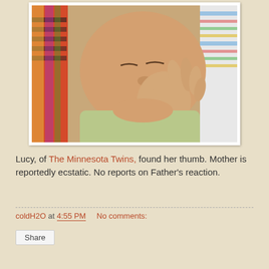[Figure (photo): Close-up photo of a sleeping baby with hand raised near mouth (sucking thumb), wearing a light green outfit, with colorful fabric visible in background]
Lucy, of The Minnesota Twins, found her thumb. Mother is reportedly ecstatic. No reports on Father's reaction.
coldH2O at 4:55 PM    No comments:
Share